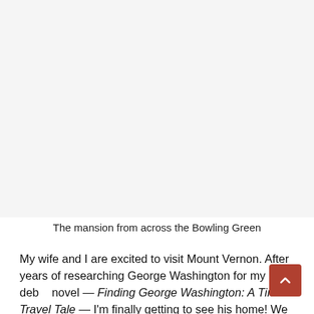[Figure (photo): A photo of a mansion from across the Bowling Green (large white space placeholder on rendered page)]
The mansion from across the Bowling Green
My wife and I are excited to visit Mount Vernon. After years of researching George Washington for my debut novel — Finding George Washington: A Time Travel Tale — I'm finally getting to see his home! We follow